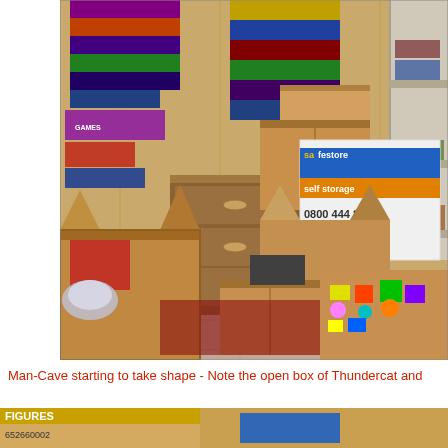[Figure (photo): A storage room or man-cave filled with numerous cardboard boxes, including a prominent white Safestore self storage box with the text 'safestore self storage 0800 444 800 www.safestore.co.uk'. Various colorful items, board games, and toys are visible on shelves and in open boxes. A wooden chest of drawers is visible in the background. The room appears to be packed with collectibles and merchandise.]
Man-Cave starting to take shape - Note the open box of Thundercat and
[Figure (photo): Bottom portion of another photo showing a box labeled 'FIGURES' with barcode number 652660002, partially visible.]